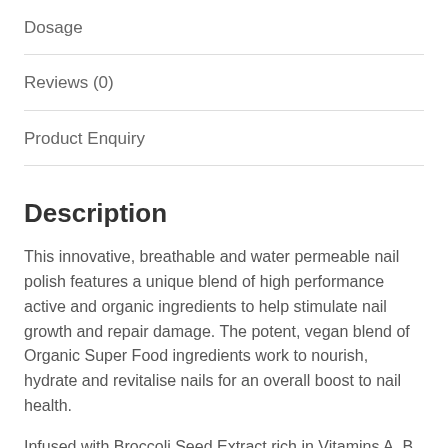Dosage
Reviews (0)
Product Enquiry
Description
This innovative, breathable and water permeable nail polish features a unique blend of high performance active and organic ingredients to help stimulate nail growth and repair damage. The potent, vegan blend of Organic Super Food ingredients work to nourish, hydrate and revitalise nails for an overall boost to nail health.
Infused with Broccoli Seed Extract rich in Vitamins A, B, K, E and containing up to 100 times the antioxidant compounds of a Broccoli head, assists in moisturising